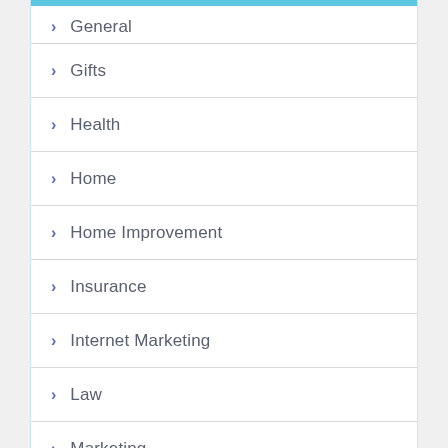General
Gifts
Health
Home
Home Improvement
Insurance
Internet Marketing
Law
Marketing